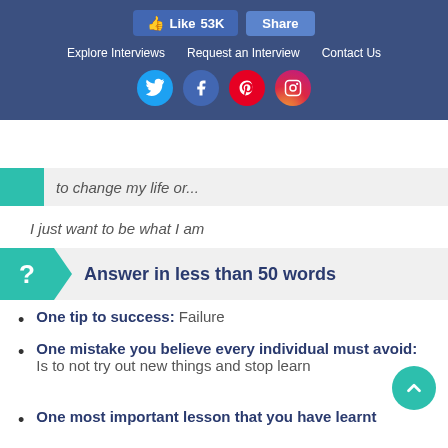Like 53K  Share  |  Explore Interviews  Request an Interview  Contact Us  [social icons: Twitter, Facebook, Pinterest, Instagram]
to change my life or...
I just want to be what I am
Answer in less than 50 words
One tip to success: Failure
One mistake you believe every individual must avoid: Is to not try out new things and stop learn...
One most important lesson that you have learnt...